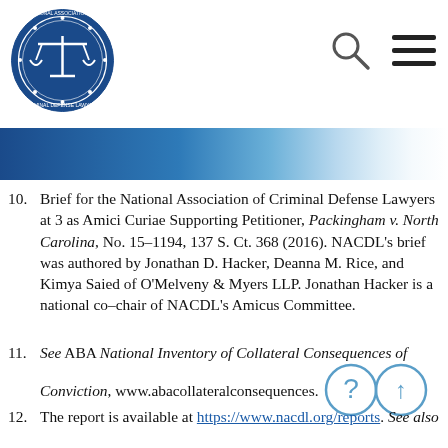[Figure (logo): NACDL logo — circular blue badge with scales of justice and text 'National Association of Criminal Defense Lawyers']
[Figure (illustration): Blue gradient banner header]
10. Brief for the National Association of Criminal Defense Lawyers at 3 as Amici Curiae Supporting Petitioner, Packingham v. North Carolina, No. 15–1194, 137 S. Ct. 368 (2016). NACDL's brief was authored by Jonathan D. Hacker, Deanna M. Rice, and Kimya Saied of O'Melveny & Myers LLP. Jonathan Hacker is a national co–chair of NACDL's Amicus Committee.
11. See ABA National Inventory of Collateral Consequences of Conviction, www.abacollateralconsequences.org/map.
12. The report is available at https://www.nacdl.org/reports. See also